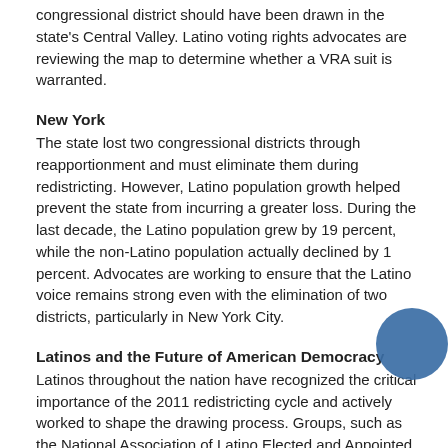congressional district should have been drawn in the state's Central Valley. Latino voting rights advocates are reviewing the map to determine whether a VRA suit is warranted.
New York
The state lost two congressional districts through reapportionment and must eliminate them during redistricting. However, Latino population growth helped prevent the state from incurring a greater loss. During the last decade, the Latino population grew by 19 percent, while the non-Latino population actually declined by 1 percent. Advocates are working to ensure that the Latino voice remains strong even with the elimination of two districts, particularly in New York City.
Latinos and the Future of American Democracy
Latinos throughout the nation have recognized the critical importance of the 2011 redistricting cycle and actively worked to shape the drawing process. Groups, such as the National Association of Latino Elected and Appointed Officials (NALEO), the Mexican American Legal Defense and Educational Fund (MALDEF), and LatinoJustice PRLDEF have conducted extensive efforts to mobilize the community to testify at redistricting hearings. Community members have gone before state legislatures and commissions to talk about their neighborhood concerns and the common issues that unite them. Latino voting rights organizations have submitted maps and initiated legal challenges.
Ultimately, decisions yet to be made by state legislatures, redistricting commissions, or courts will determine whether Latinos fully gain opportunities